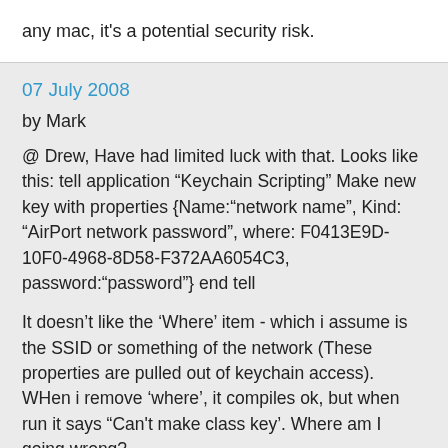any mac, it’s a potential security risk.
07 July 2008
by Mark
@ Drew, Have had limited luck with that. Looks like this: tell application “Keychain Scripting” Make new key with properties {Name:“network name”, Kind: “AirPort network password”, where: F0413E9D-10F0-4968-8D58-F372AA6054C3, password:“password”} end tell
It doesn’t like the ‘Where’ item - which i assume is the SSID or something of the network (These properties are pulled out of keychain access). WHen i remove ‘where’, it compiles ok, but when run it says “Can't make class key’. Where am I going wrong?